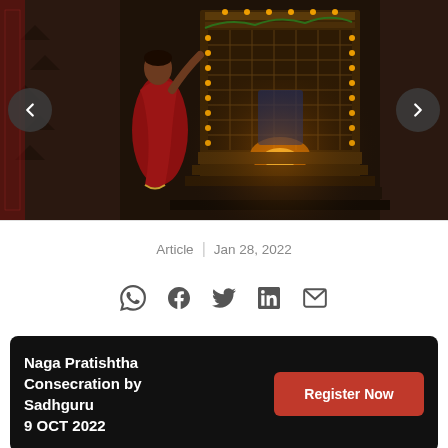[Figure (photo): Woman in red saree performing puja at an illuminated temple shrine decorated with oil lamps and flowers. Dark background with warm golden light from the lamps.]
Article | Jan 28, 2022
[Figure (infographic): Social sharing icons: WhatsApp, Facebook, Twitter, LinkedIn, Email]
Naga Pratishtha Consecration by Sadhguru
9 OCT 2022
Register Now